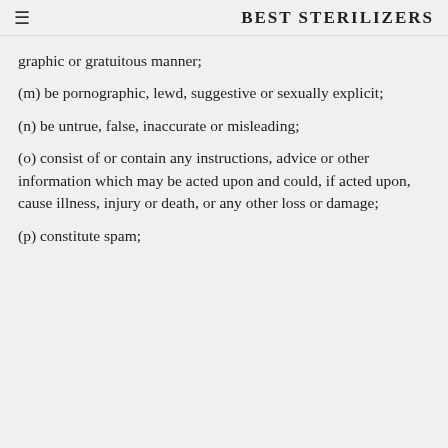BEST STERILIZERS
graphic or gratuitous manner;
(m) be pornographic, lewd, suggestive or sexually explicit;
(n) be untrue, false, inaccurate or misleading;
(o) consist of or contain any instructions, advice or other information which may be acted upon and could, if acted upon, cause illness, injury or death, or any other loss or damage;
(p) constitute spam;